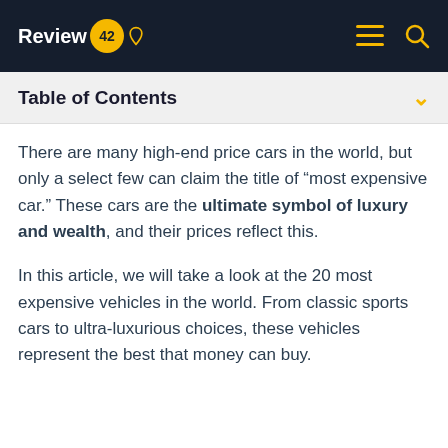Review 42
Table of Contents
There are many high-end price cars in the world, but only a select few can claim the title of “most expensive car.” These cars are the ultimate symbol of luxury and wealth, and their prices reflect this.
In this article, we will take a look at the 20 most expensive vehicles in the world. From classic sports cars to ultra-luxurious choices, these vehicles represent the best that money can buy.